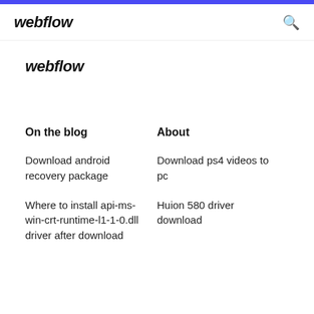webflow
webflow
On the blog
About
Download android recovery package
Download ps4 videos to pc
Where to install api-ms-win-crt-runtime-l1-1-0.dll driver after download
Huion 580 driver download